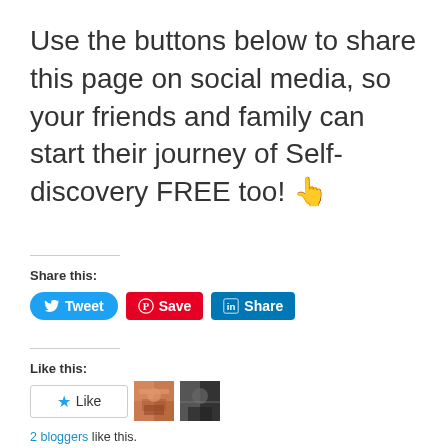Use the buttons below to share this page on social media, so your friends and family can start their journey of Self-discovery FREE too! 👆
Share this:
[Figure (other): Social sharing buttons: Tweet (Twitter/blue), Save (Pinterest/red), Share (LinkedIn/blue)]
Like this:
[Figure (other): Like button with star icon, and two blogger avatar thumbnails]
2 bloggers like this.